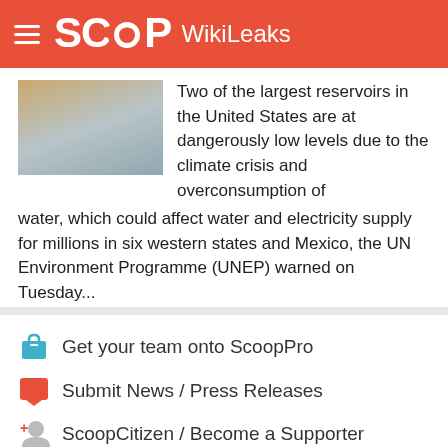SCOOP WikiLeaks
Two of the largest reservoirs in the United States are at dangerously low levels due to the climate crisis and overconsumption of water, which could affect water and electricity supply for millions in six western states and Mexico, the UN Environment Programme (UNEP) warned on Tuesday... More>>
Get your team onto ScoopPro
Submit News / Press Releases
ScoopCitizen / Become a Supporter
Using Scoop at work?